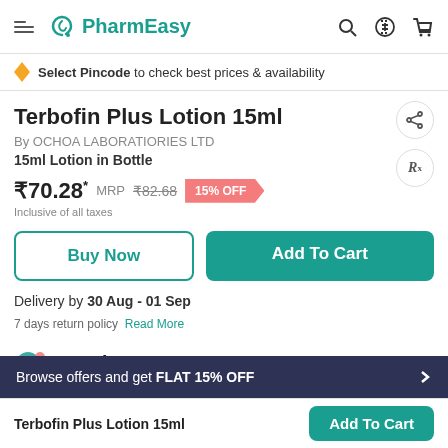PharmEasy
Select Pincode to check best prices & availability
Terbofin Plus Lotion 15ml
By OCHOA LABORATIORIES LTD
15ml Lotion in Bottle
₹70.28* MRP ₹82.68  15% OFF
Inclusive of all taxes
Buy Now
Add To Cart
Delivery by 30 Aug - 01 Sep
7 days return policy  Read More
Product Summary
Browse offers and get FLAT 15% OFF
Terbofin Plus Lotion 15ml
Add To Cart